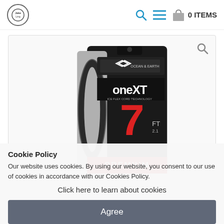Logo | Search | Menu | 0 ITEMS
[Figure (photo): Product photo of Ocean & Earth OneXT leash package, showing a black packaging with 'oneXT' branding, number '7' in red, and 'PREMIUM' label at bottom]
Cookie Policy
Our website uses cookies. By using our website, you consent to our use of cookies in accordance with our Cookies Policy.
Click here to learn about cookies
Agree